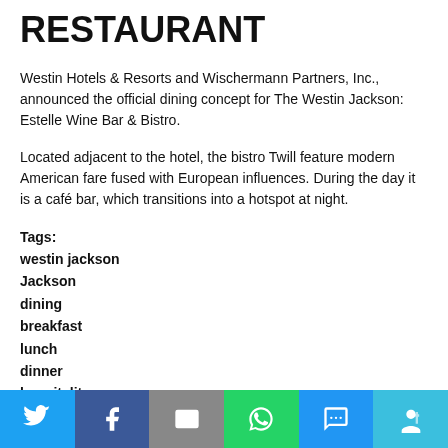RESTAURANT
Westin Hotels & Resorts and Wischermann Partners, Inc., announced the official dining concept for The Westin Jackson: Estelle Wine Bar & Bistro.
Located adjacent to the hotel, the bistro Twill feature modern American fare fused with European influences. During the day it is a café bar, which transitions into a hotspot at night.
Tags: westin jackson
Jackson
dining
breakfast
lunch
dinner
hospitality
hotels